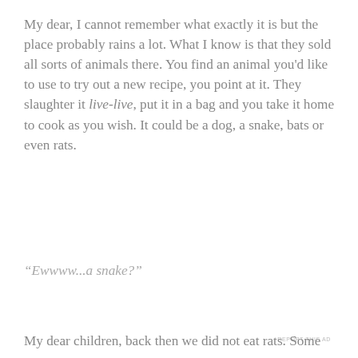My dear, I cannot remember what exactly it is but the place probably rains a lot. What I know is that they sold all sorts of animals there. You find an animal you'd like to use to try out a new recipe, you point at it. They slaughter it live-live, put it in a bag and you take it home to cook as you wish. It could be a dog, a snake, bats or even rats.
“Ewwww...a snake?”
REPORT THIS AD
Privacy & Cookies: This site uses cookies. By continuing to use this website, you agree to their use.
To find out more, including how to control cookies, see here: Cookie Policy
Close and accept
My dear children, back then we did not eat rats. Some